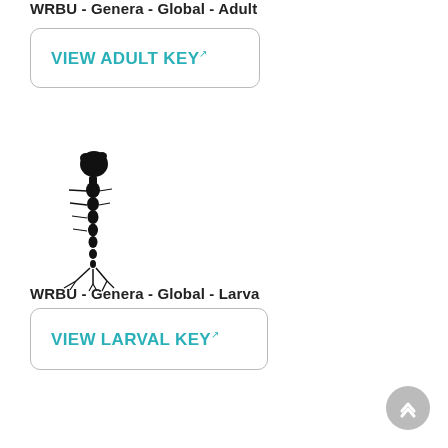WRBU - Genera - Global - Adult
VIEW ADULT KEY
[Figure (illustration): Black ink illustration of a mosquito larva in vertical orientation, showing segmented body with head cluster at top and tail appendages at bottom]
WRBU - Genera - Global - Larva
VIEW LARVAL KEY